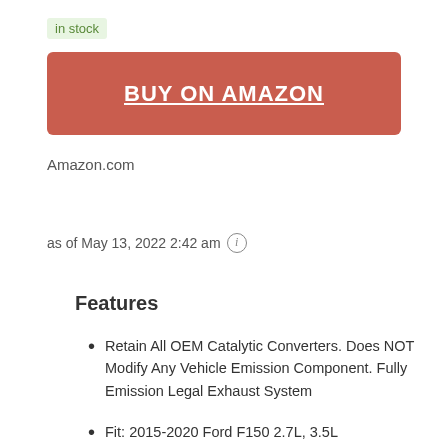in stock
BUY ON AMAZON
Amazon.com
as of May 13, 2022 2:42 am ℹ
Features
Retain All OEM Catalytic Converters. Does NOT Modify Any Vehicle Emission Component. Fully Emission Legal Exhaust System
Fit: 2015-2020 Ford F150 2.7L, 3.5L